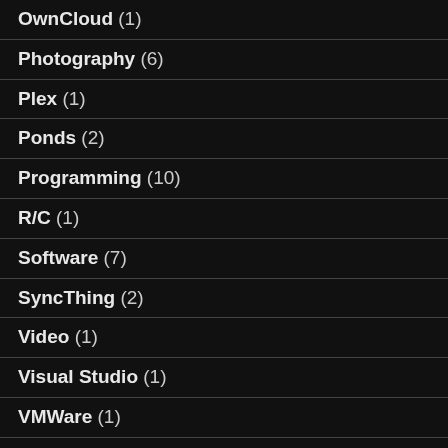OwnCloud (1)
Photography (6)
Plex (1)
Ponds (2)
Programming (10)
R/C (1)
Software (7)
SyncThing (2)
Video (1)
Visual Studio (1)
VMWare (1)
Water Cooling (2)